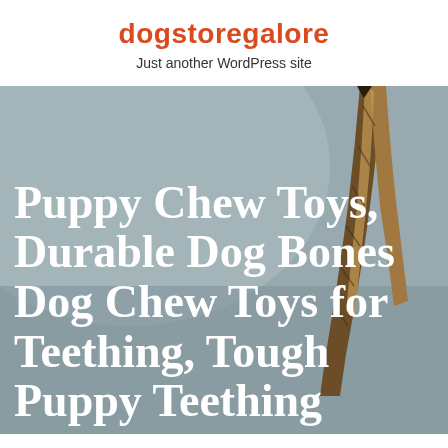dogstoregalore
Just another WordPress site
[Figure (photo): A dog chew toy / bone stick held upright against a grey background, showing wood-like texture in brown and gold tones]
Puppy Chew Toys, Durable Dog Bones Dog Chew Toys for Teething, Tough Puppy Teething...